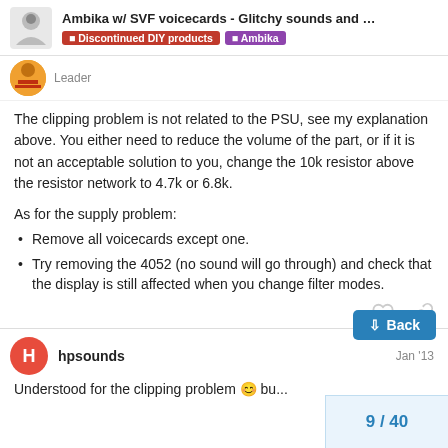Ambika w/ SVF voicecards - Glitchy sounds and ... | Discontinued DIY products | Ambika
Leader
The clipping problem is not related to the PSU, see my explanation above. You either need to reduce the volume of the part, or if it is not an acceptable solution to you, change the 10k resistor above the resistor network to 4.7k or 6.8k.
As for the supply problem:
Remove all voicecards except one.
Try removing the 4052 (no sound will go through) and check that the display is still affected when you change filter modes.
hpsounds
Jan '13
9 / 40
Understood for the clipping problem 😊 bu...